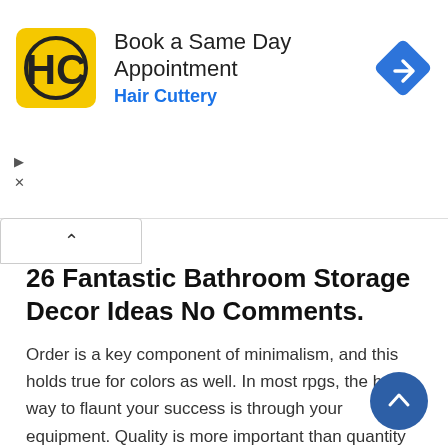[Figure (screenshot): Hair Cuttery advertisement banner: yellow HC logo on left, text 'Book a Same Day Appointment' in black and 'Hair Cuttery' in blue, blue diamond navigation arrow on right, with ad controls (play/close icons) on far left]
26 Fantastic Bathroom Storage Decor Ideas No Comments.
Order is a key component of minimalism, and this holds true for colors as well. In most rpgs, the best way to flaunt your success is through your equipment. Quality is more important than quantity in minimalist home decor because you have limited space and you need to use the most needed furniture and stuff in this design.